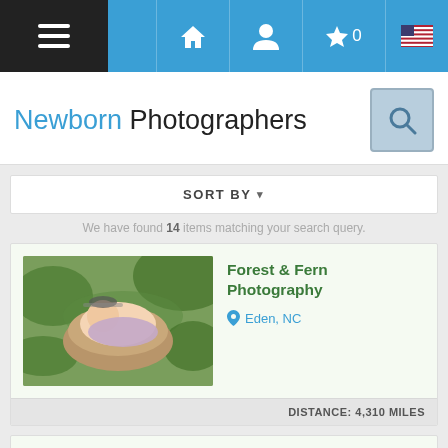Navigation bar with hamburger menu, home, profile, favorites (0), language icons
Newborn Photographers
SORT BY ▾
We have found 14 items matching your search query.
Forest & Fern Photography — Eden, NC — DISTANCE: 4,310 MILES
[Figure (photo): Newborn baby sleeping in a bowl outdoors on grass]
Cindy White Photography — Culpeper, Virginia, United States — Premier Culpeper, Virginia Newborn Photographer
[Figure (photo): Newborn baby in a wooden bucket]